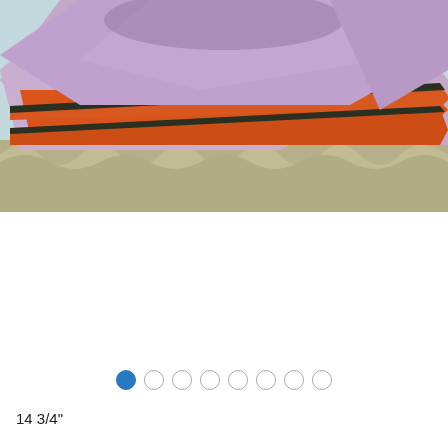[Figure (photo): Close-up photograph of a doll or figurine wearing a purple/lavender fabric shawl or top with orange and dark green/black trim edging, layered over a gathered light olive/khaki colored skirt. Light blue-gray background.]
[Figure (infographic): Image carousel navigation dots: 8 circles in a row, the first filled solid blue (active), remaining 7 are empty/outline circles.]
14 3/4"